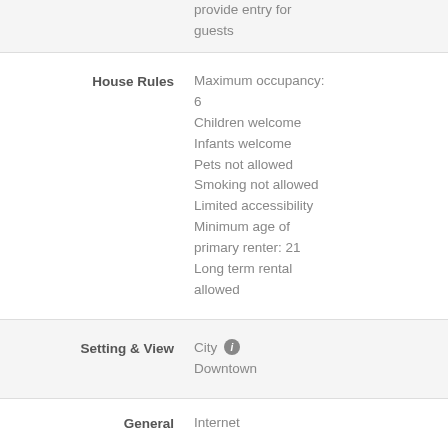provide entry for guests
House Rules
Maximum occupancy: 6
Children welcome
Infants welcome
Pets not allowed
Smoking not allowed
Limited accessibility
Minimum age of primary renter: 21
Long term rental allowed
Setting & View
City
Downtown
General
Internet